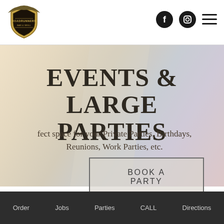[Figure (logo): Roadrunners restaurant/bar logo with eagle and shield emblem]
[Figure (illustration): Social media icons: Facebook circle icon, Instagram circle icon, and hamburger menu icon]
[Figure (photo): Hero background: soft blurred warm beige and light blue/grey gradient background]
EVENTS & LARGE PARTIES
...fect space for your Private Parties, Birthdays, Reunions, Work Parties, etc.
BOOK A PARTY
Order   Jobs   Parties   CALL   Directions